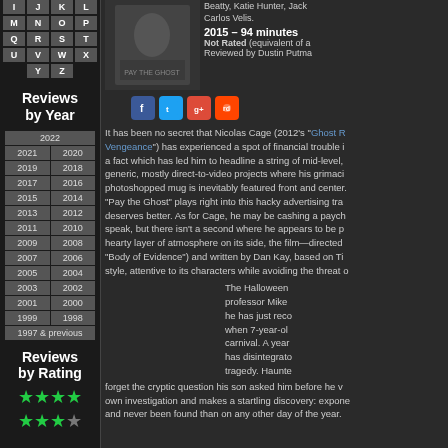I J K L
M N O P
Q R S T
U V W X
Y Z
Reviews by Year
| 2022 |
| 2021 | 2020 |
| 2019 | 2018 |
| 2017 | 2016 |
| 2015 | 2014 |
| 2013 | 2012 |
| 2011 | 2010 |
| 2009 | 2008 |
| 2007 | 2006 |
| 2005 | 2004 |
| 2003 | 2002 |
| 2001 | 2000 |
| 1999 | 1998 |
| 1997 & previous |
Reviews by Rating
[Figure (other): Green star rating icons showing approximately 4 stars]
[Figure (photo): Movie poster for Pay the Ghost]
Beatty, Katie Hunter, Jack Carlos Velis.
2015 – 94 minutes
Not Rated (equivalent of a Reviewed by Dustin Putma
[Figure (other): Social media sharing icons: Facebook, Twitter, Google+, Reddit]
It has been no secret that Nicolas Cage (2012's "Ghost R Vengeance") has experienced a spot of financial trouble i a fact which has led him to headline a string of mid-level, generic, mostly direct-to-video projects where his grimaci photoshopped mug is inevitably featured front and center. "Pay the Ghost" plays right into this hacky advertising tra deserves better. As for Cage, he may be cashing a paych speak, but there isn't a second where he appears to be p hearty layer of atmosphere on its side, the film—directed "Body of Evidence") and written by Dan Kay, based on Ti style, attentive to its characters while avoiding the threat o
The Halloween professor Mike he has just reco when 7-year-ol carnival. A year has disintegrato tragedy. Haunte forget the cryptic question his son asked him before he v own investigation and makes a startling discovery: expone and never been found than on any other day of the year.